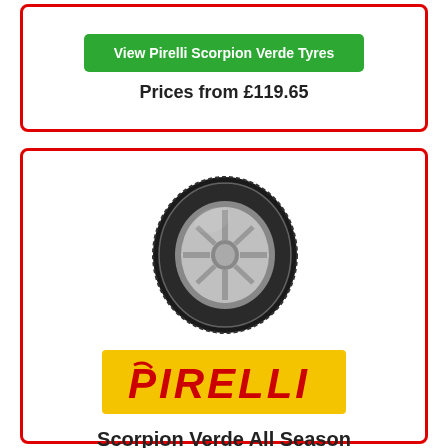View Pirelli Scorpion Verde Tyres
Prices from £119.65
[Figure (photo): Pirelli Scorpion Verde All Season tyre viewed from front angle showing tread pattern and alloy wheel]
[Figure (logo): Pirelli logo on yellow background with red italic text]
Scorpion Verde All Season
4.5/5